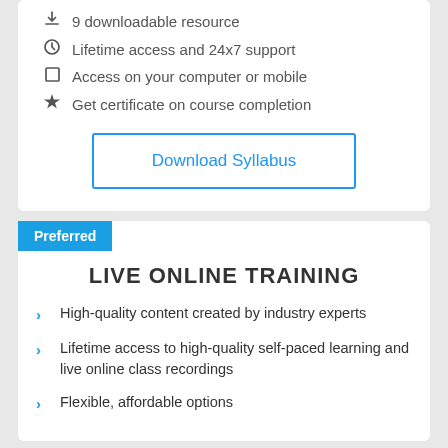9 downloadable resource
Lifetime access and 24x7 support
Access on your computer or mobile
Get certificate on course completion
Download Syllabus
Preferred
LIVE ONLINE TRAINING
High-quality content created by industry experts
Lifetime access to high-quality self-paced learning and live online class recordings
Flexible, affordable options